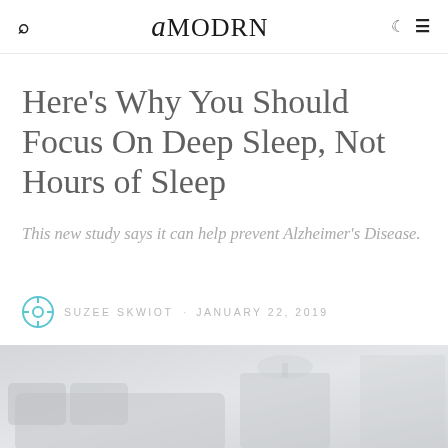amodrn
Here's Why You Should Focus On Deep Sleep, Not Hours of Sleep
This new study says it can help prevent Alzheimer's Disease.
Suzee Skwiot · January 22, 2019
[Figure (photo): A faded, light-toned photograph of a bedroom scene, showing a bed and room details in muted gray tones.]